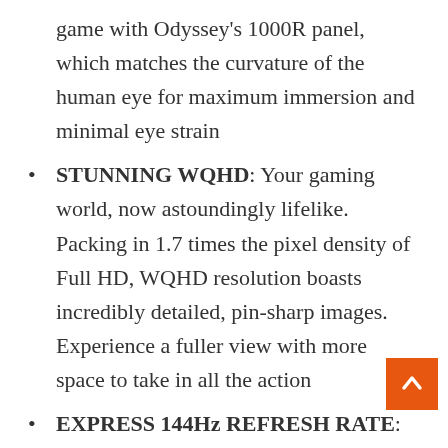game with Odyssey's 1000R panel, which matches the curvature of the human eye for maximum immersion and minimal eye strain
STUNNING WQHD: Your gaming world, now astoundingly lifelike. Packing in 1.7 times the pixel density of Full HD, WQHD resolution boasts incredibly detailed, pin-sharp images. Experience a fuller view with more space to take in all the action
EXPRESS 144Hz REFRESH RATE: More than double your potential frame production, with the Odyssey G5. With a 144hz super smooth refresh rate, you'll never want to go back to a traditional screen
LIGHTNING FAST 1ms RESPONSE TIMES: A